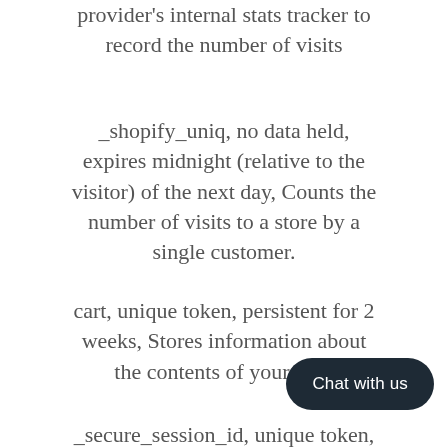provider's internal stats tracker to record the number of visits
_shopify_uniq, no data held, expires midnight (relative to the visitor) of the next day, Counts the number of visits to a store by a single customer.
cart, unique token, persistent for 2 weeks, Stores information about the contents of your cart.
_secure_session_id, unique token, sessional
storefront_digest, unique token, indefinite If the shop has a